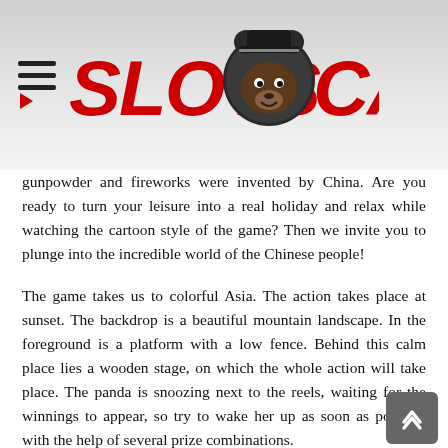SLOTS CANADA
gunpowder and fireworks were invented by China. Are you ready to turn your leisure into a real holiday and relax while watching the cartoon style of the game? Then we invite you to plunge into the incredible world of the Chinese people!
The game takes us to colorful Asia. The action takes place at sunset. The backdrop is a beautiful mountain landscape. In the foreground is a platform with a low fence. Behind this calm place lies a wooden stage, on which the whole action will take place. The panda is snoozing next to the reels, waiting for the winnings to appear, so try to wake her up as soon as possible with the help of several prize combinations.
The sun leaving the horizon and the mountains in the background only bring the enchanting end of the game closer - a player's victory, which will be...